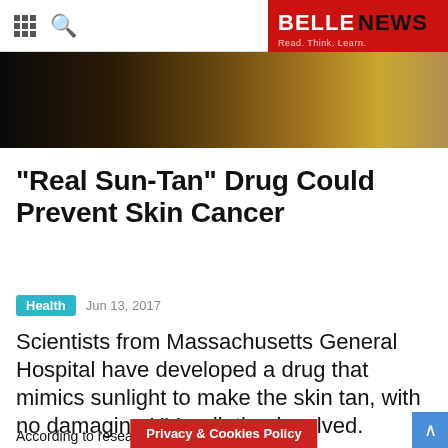BELLENEWS — Read. Think. Learn.
[Figure (photo): Hero image with dark to golden warm tones, appears to be a nature or animal close-up photo]
“Real Sun-Tan” Drug Could Prevent Skin Cancer
Health   Jun 13, 2017
Scientists from Massachusetts General Hospital have developed a drug that mimics sunlight to make the skin tan, with no damaging UV radiation involved.
According to researchers, the d…roducing the